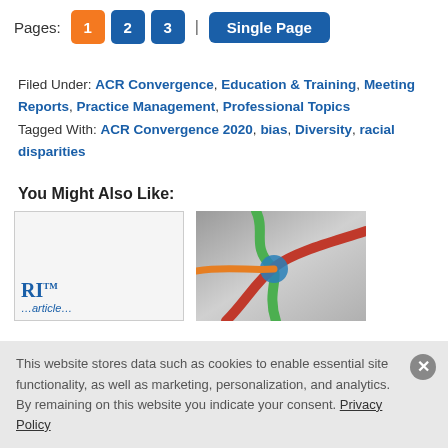Pages: 1 2 3 | Single Page
Filed Under: ACR Convergence, Education & Training, Meeting Reports, Practice Management, Professional Topics
Tagged With: ACR Convergence 2020, bias, Diversity, racial disparities
You Might Also Like:
[Figure (photo): Thumbnail card with 'RI' text and small article preview]
[Figure (photo): Photo of colorful rope knot tied together - green, red, blue ropes]
This website stores data such as cookies to enable essential site functionality, as well as marketing, personalization, and analytics. By remaining on this website you indicate your consent. Privacy Policy